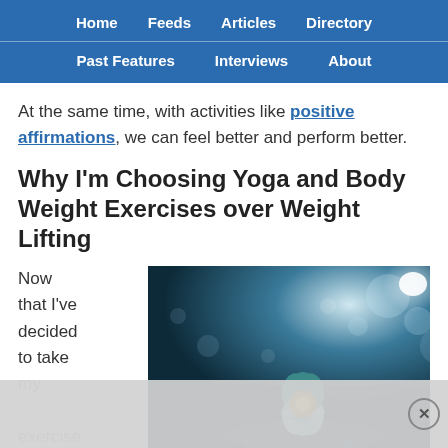Home  Feeds  Articles  Directory  Past Features  Interviews  About
At the same time, with activities like positive affirmations, we can feel better and perform better.
Why I'm Choosing Yoga and Body Weight Exercises over Weight Lifting
Now that I've decided to take my exercise
[Figure (photo): A glowing lotus flower with teal petals and orange center, set against a dark bokeh background with light flares]